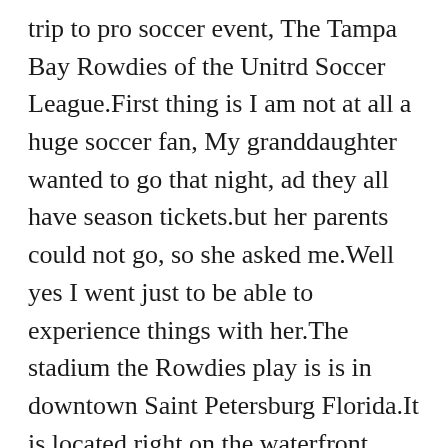trip to pro soccer event, The Tampa Bay Rowdies of the Unitrd Soccer League.First thing is I am not at all a huge soccer fan, My granddaughter wanted to go that night, ad they all have season tickets.but her parents could not go, so she asked me.Well yes I went just to be able to experience things with her.The stadium the Rowdies play is is in downtown Saint Petersburg Florida.It is located right on the waterfront , and is a beautiful setting,Arrive early to be able to see all down town beauty .Well worth it.As far as the match itself went, for me as I thought it would go ,I watched but few things I was like oh